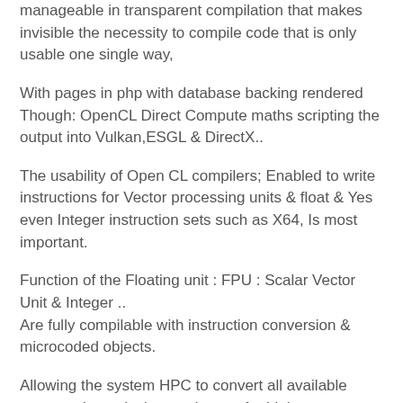manageable in transparent compilation that makes invisible the necessity to compile code that is only usable one single way,
With pages in php with database backing rendered Though: OpenCL Direct Compute maths scripting the output into Vulkan,ESGL & DirectX..
The usability of Open CL compilers; Enabled to write instructions for Vector processing units & float & Yes even Integer instruction sets such as X64, Is most important.
Function of the Floating unit : FPU : Scalar Vector Unit & Integer ..
Are fully compilable with instruction conversion & microcoded objects.
Allowing the system HPC to convert all available computation unity into realestate for high performance computing and gaming, rendering, Dynamic compiled code objects .. All at the same time.